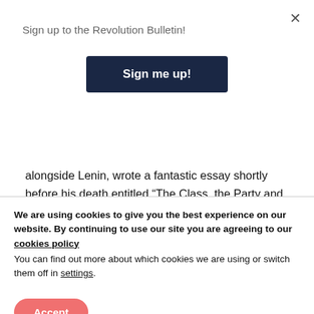×
Sign up to the Revolution Bulletin!
Sign me up!
alongside Lenin, wrote a fantastic essay shortly before his death entitled “The Class, the Party and the Leadership—Why was the Spanish Proletariat Defeated?”
As the title suggests, the text looks at the Spanish
We are using cookies to give you the best experience on our website. By continuing to use our site you are agreeing to our cookies policy
You can find out more about which cookies we are using or switch them off in settings.
Accept